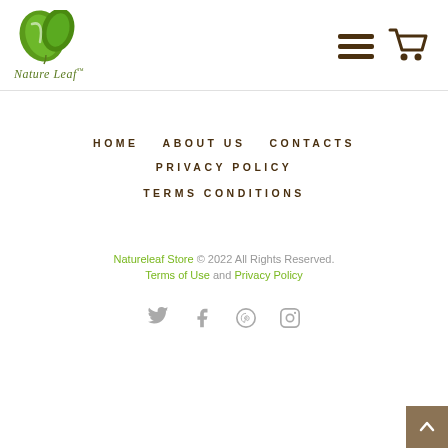[Figure (logo): Nature Leaf logo with green leaf illustration and italic text 'Nature Leaf™']
[Figure (other): Hamburger menu icon and shopping cart icon in dark brown]
HOME   ABOUT US   CONTACTS   PRIVACY POLICY   TERMS CONDITIONS
Natureleaf Store © 2022 All Rights Reserved. Terms of Use and Privacy Policy
[Figure (other): Social media icons: Twitter, Facebook, Pinterest, Instagram]